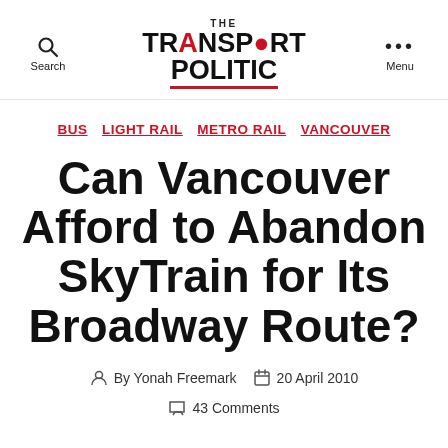Search | THE TRANSPORT POLITIC | Menu
BUS  LIGHT RAIL  METRO RAIL  VANCOUVER
Can Vancouver Afford to Abandon SkyTrain for Its Broadway Route?
By Yonah Freemark   20 April 2010
43 Comments